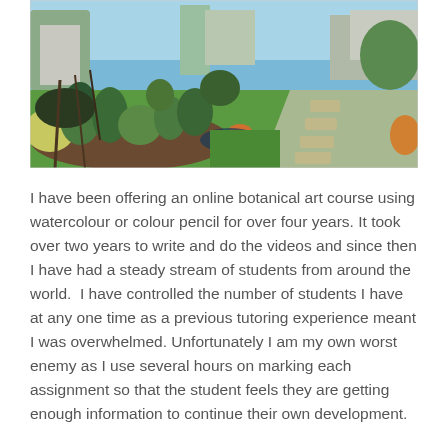[Figure (photo): Outdoor garden photo showing a lush garden path with green lawn, flower beds with various plants and shrubs, trees in the background, and a paved stepping stone path on the right side under a sunny blue sky.]
I have been offering an online botanical art course using watercolour or colour pencil for over four years. It took over two years to write and do the videos and since then I have had a steady stream of students from around the world.  I have controlled the number of students I have at any one time as a previous tutoring experience meant I was overwhelmed. Unfortunately I am my own worst enemy as I use several hours on marking each assignment so that the student feels they are getting enough information to continue their own development.